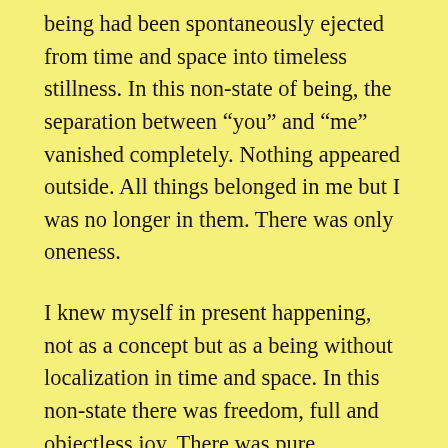being had been spontaneously ejected from time and space into timeless stillness. In this non-state of being, the separation between “you” and “me” vanished completely. Nothing appeared outside. All things belonged in me but I was no longer in them. There was only oneness.
I knew myself in present happening, not as a concept but as a being without localization in time and space. In this non-state there was freedom, full and objectless joy. There was pure thankfulness, thanking without an object. It was not an affective feeling, but a freedom from all affectivity, a coldness close to warmth. My Master had given me an understanding of